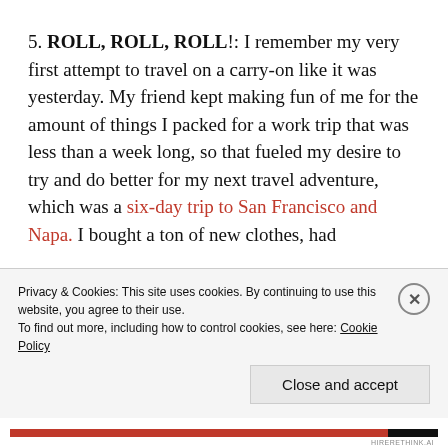5. ROLL, ROLL, ROLL!: I remember my very first attempt to travel on a carry-on like it was yesterday. My friend kept making fun of me for the amount of things I packed for a work trip that was less than a week long, so that fueled my desire to try and do better for my next travel adventure, which was a six-day trip to San Francisco and Napa. I bought a ton of new clothes, had
Privacy & Cookies: This site uses cookies. By continuing to use this website, you agree to their use. To find out more, including how to control cookies, see here: Cookie Policy
Close and accept